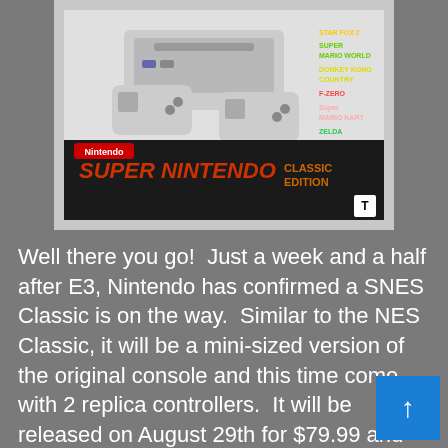[Figure (photo): Super Nintendo Classic Edition box product photo showing the SNES mini console with two controllers and game titles listed on the side of the packaging.]
Well there you go!  Just a week and a half after E3, Nintendo has confirmed a SNES Classic is on the way.  Similar to the NES Classic, it will be a mini-sized version of the original console and this time come with 2 replica controllers.  It will be released on August 29th for $79.99 and include 21 games including Star Fox 2!